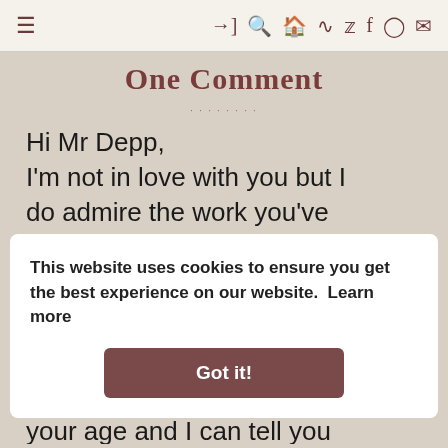≡  →] 🔍 🏠 ⊕ 🐦 f 📷 ✉
One Comment
Hi Mr Depp, I'm not in love with you but I do admire the work you've done in the past and mostly, I'm so very proud of you for standing up for yourself in court. Abuse is
This website uses cookies to ensure you get the best experience on our website.  Learn more
Got it!
your age and I can tell you